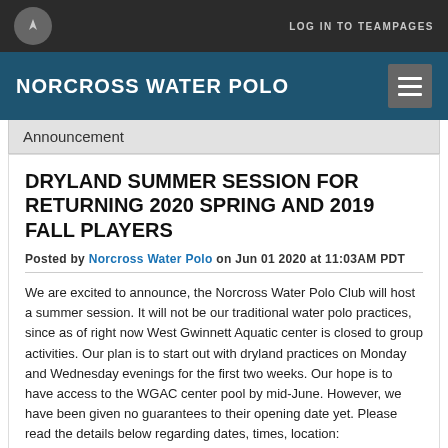LOG IN TO TEAMPAGES
NORCROSS WATER POLO
Announcement
DRYLAND SUMMER SESSION FOR RETURNING 2020 SPRING AND 2019 FALL PLAYERS
Posted by Norcross Water Polo on Jun 01 2020 at 11:03AM PDT
We are excited to announce, the Norcross Water Polo Club will host a summer session. It will not be our traditional water polo practices, since as of right now West Gwinnett Aquatic center is closed to group activities. Our plan is to start out with dryland practices on Monday and Wednesday evenings for the first two weeks. Our hope is to have access to the WGAC center pool by mid-June. However, we have been given no guarantees to their opening date yet. Please read the details below regarding dates, times, location:
Summer Session:
June 1st – July 15th, 2020 (no practice July 1st and July 6th)